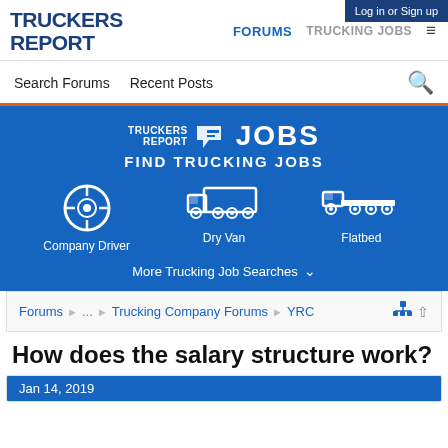Log in or Sign up
[Figure (logo): Truckers Report logo - bold dark blue text]
FORUMS  TRUCKING JOBS  ≡
Search Forums   Recent Posts
[Figure (infographic): Truckers Report Jobs banner with Find Trucking Jobs, Company Driver, Dry Van, Flatbed icons and More Trucking Job Searches link]
Forums ... Trucking Company Forums YRC
How does the salary structure work?
Jan 14, 2019